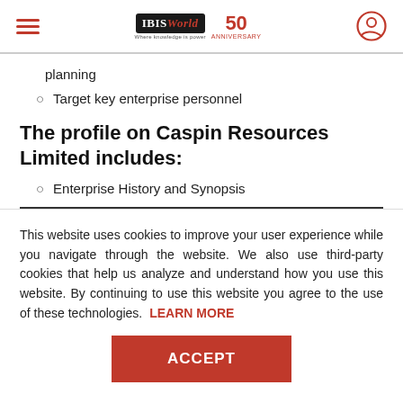IBISWorld 50th Anniversary
planning
Target key enterprise personnel
The profile on Caspin Resources Limited includes:
Enterprise History and Synopsis
This website uses cookies to improve your user experience while you navigate through the website. We also use third-party cookies that help us analyze and understand how you use this website. By continuing to use this website you agree to the use of these technologies. LEARN MORE
ACCEPT